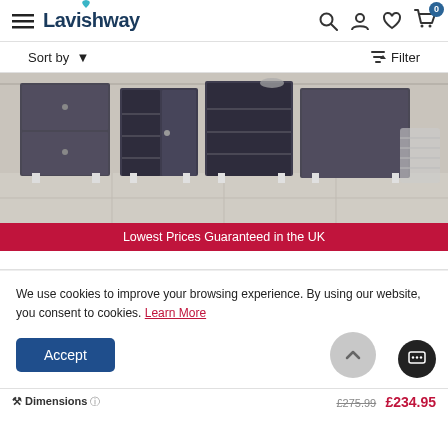Lavishway — navigation header with hamburger menu, logo, search, account, wishlist, and cart (0 items)
Sort by ▾   Filter
[Figure (photo): Dark grey modular bathroom floor cabinets with open shelves and chrome feet, displayed in a bathroom setting]
Lowest Prices Guaranteed in the UK
We use cookies to improve your browsing experience. By using our website, you consent to cookies. Learn More
Accept
Dimensions
£275.99  £234.95